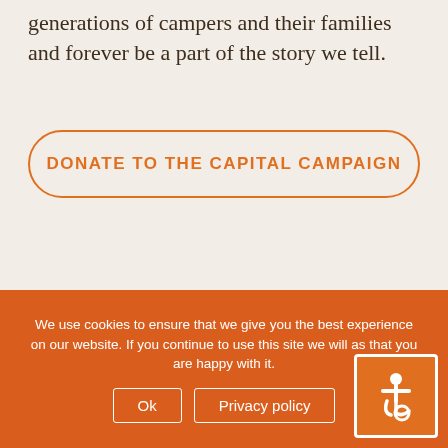generations of campers and their families and forever be a part of the story we tell.
DONATE TO THE CAPITAL CAMPAIGN
Looking for ways to contribute? There are many ways to get
We use cookies to ensure that we give you the best experience on our website. If you continue to use this site we will as that you are happy with it.
Ok   Privacy policy